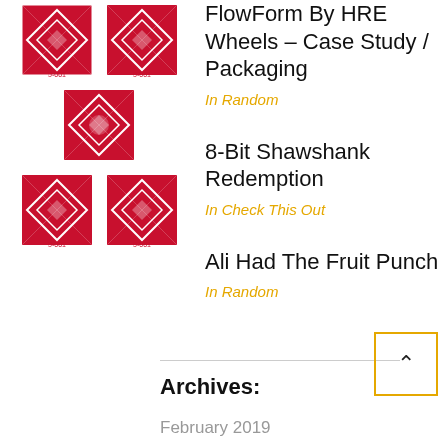[Figure (photo): Five red and white patterned square tiles arranged in a cross/plus pattern on a white background]
FlowForm By HRE Wheels – Case Study / Packaging
In Random
8-Bit Shawshank Redemption
In Check This Out
Ali Had The Fruit Punch
In Random
Archives:
February 2019